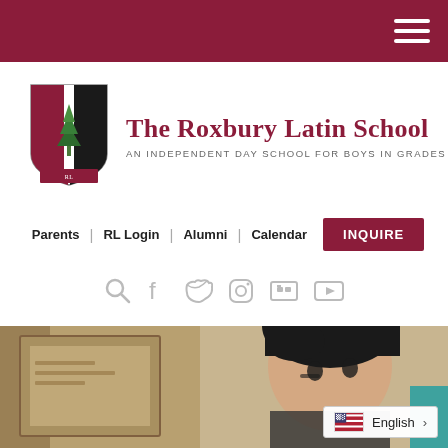The Roxbury Latin School - navigation bar with hamburger menu
[Figure (logo): The Roxbury Latin School crest/shield logo with tree emblem, dark red and black colors]
The Roxbury Latin School
AN INDEPENDENT DAY SCHOOL FOR BOYS IN GRADES 7–12
Parents | RL Login | Alumni | Calendar | INQUIRE
[Figure (infographic): Social media icons row: search, Facebook, Twitter, Instagram, Flickr, YouTube]
[Figure (photo): Photo of a boy studying or looking down, dark hair, in a classroom or hallway setting]
English >